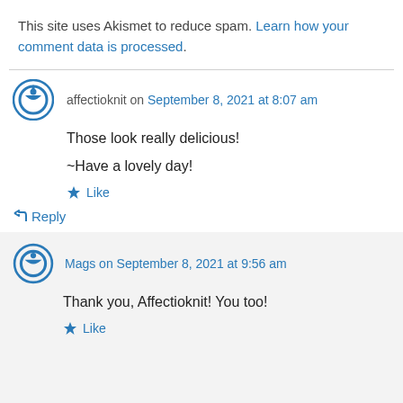This site uses Akismet to reduce spam. Learn how your comment data is processed.
affectioknit on September 8, 2021 at 8:07 am
Those look really delicious!
~Have a lovely day!
★ Like
↳ Reply
Mags on September 8, 2021 at 9:56 am
Thank you, Affectioknit! You too!
★ Like